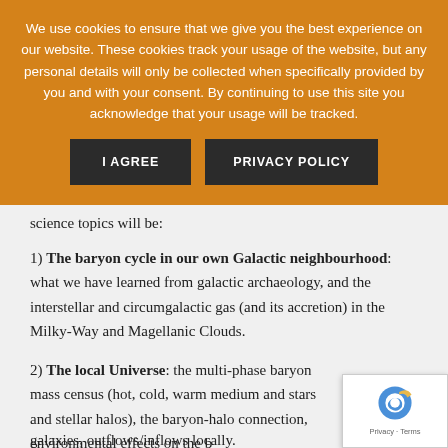We use cookies to ensure that we give you the best experience on our website. These cookies track your usage of the website, but any personal details will only be collected when specifically provided by you and with your consent. By continuing to use this site you acknowledge that your usage will be tracked.
I AGREE | PRIVACY POLICY
science topics will be:
1) The baryon cycle in our own Galactic neighbourhood: what we have learned from galactic archaeology, and the interstellar and circumgalactic gas (and its accretion) in the Milky-Way and Magellanic Clouds.
2) The local Universe: the multi-phase baryon mass census (hot, cold, warm medium and stars and stellar halos), the baryon-halo connection, environmental effects on the baryon cycle in galaxies, outflows/inflows locally.